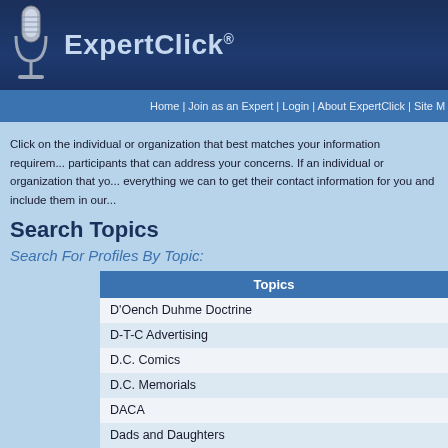[Figure (logo): ExpertClick logo with microphone icon and text 'ExpertClick®' on dark blue background]
Home | Join as an Expert | Login | About ExpertClick | Site M
Click on the individual or organization that best matches your information requirements. We have participants that can address your concerns. If an individual or organization that yo... everything we can to get their contact information for you and include them in our...
Search Topics
Search For Profiles By Topic:
| Topics |
| --- |
| D'Oench Duhme Doctrine |
| D-T-C Advertising |
| D.C. Comics |
| D.C. Memorials |
| DACA |
| Dads and Daughters |
| Daily App show |
| Daily Living Aids |
| Daily Meditation Practices (partial) |